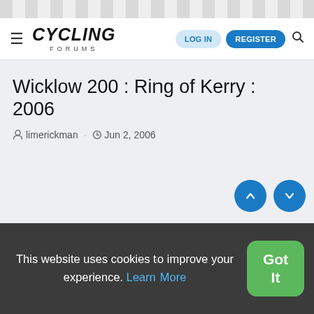CYCLING FORUMS — LOG IN | REGISTER
Wicklow 200 : Ring of Kerry : 2006
limerickman · Jun 2, 2006
This website uses cookies to improve your experience. Learn More
Got It